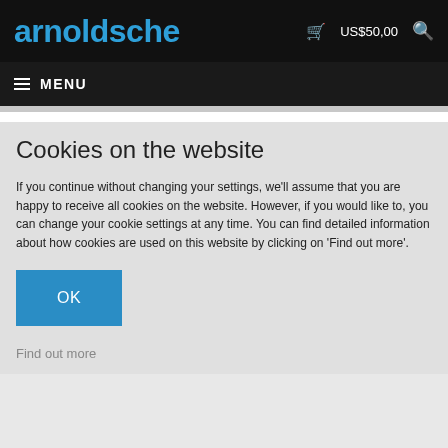arnoldsche  US$50,00
MENU
Cookies on the website
If you continue without changing your settings, we'll assume that you are happy to receive all cookies on the website. However, if you would like to, you can change your cookie settings at any time. You can find detailed information about how cookies are used on this website by clicking on 'Find out more'.
OK
Find out more